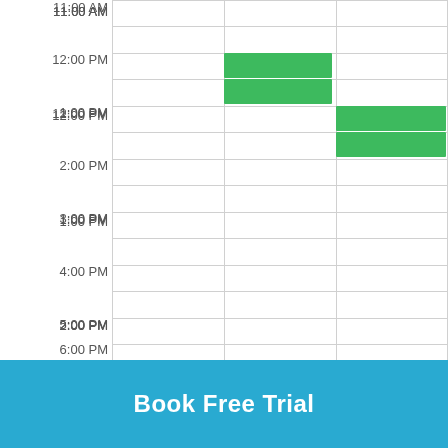[Figure (screenshot): A weekly calendar schedule view showing time slots from 11:00 AM to 6:00 PM with green blocks indicating available/booked slots around 12:00 PM and 1:00 PM in two different columns.]
Book Free Trial